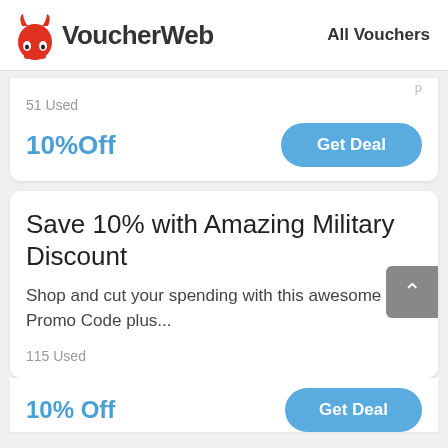VoucherWeb  All Vouchers
51 Used
10%Off
Get Deal
Save 10% with Amazing Military Discount
Shop and cut your spending with this awesome Promo Code plus...
115 Used
10% Off
Get Deal